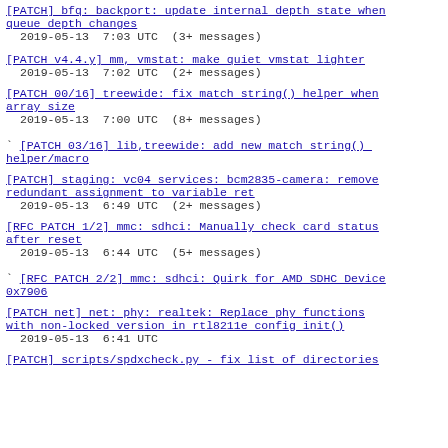[PATCH] bfq: backport: update internal depth state when queue depth changes
2019-05-13  7:03 UTC  (3+ messages)
[PATCH v4.4.y] mm, vmstat: make quiet vmstat lighter
2019-05-13  7:02 UTC  (2+ messages)
[PATCH 00/16] treewide: fix match string() helper when array size
2019-05-13  7:00 UTC  (8+ messages)
` [PATCH 03/16] lib,treewide: add new match string() helper/macro
[PATCH] staging: vc04 services: bcm2835-camera: remove redundant assignment to variable ret
2019-05-13  6:49 UTC  (2+ messages)
[RFC PATCH 1/2] mmc: sdhci: Manually check card status after reset
2019-05-13  6:44 UTC  (5+ messages)
` [RFC PATCH 2/2] mmc: sdhci: Quirk for AMD SDHC Device 0x7906
[PATCH net] net: phy: realtek: Replace phy functions with non-locked version in rtl8211e config init()
2019-05-13  6:41 UTC
[PATCH] scripts/spdxcheck.py - fix list of directories